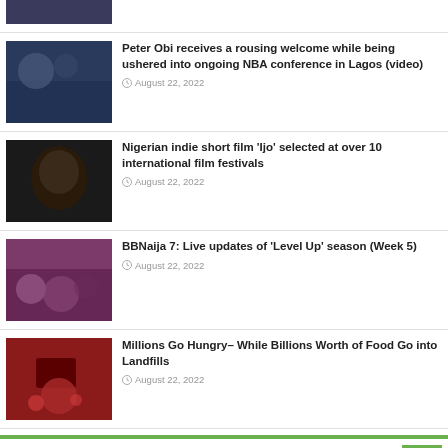[Figure (photo): Partial news thumbnail at top, dark/blue toned image]
Peter Obi receives a rousing welcome while being ushered into ongoing NBA conference in Lagos (video)
August 22, 2022
Nigerian indie short film 'Ijo' selected at over 10 international film festivals
August 22, 2022
BBNaija 7: Live updates of 'Level Up' season (Week 5)
August 22, 2022
Millions Go Hungry– While Billions Worth of Food Go into Landfills
August 22, 2022
FIND US ON FACEBOOK